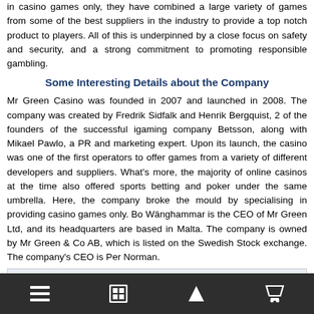in casino games only, they have combined a large variety of games from some of the best suppliers in the industry to provide a top notch product to players. All of this is underpinned by a close focus on safety and security, and a strong commitment to promoting responsible gambling.
Some Interesting Details about the Company
Mr Green Casino was founded in 2007 and launched in 2008. The company was created by Fredrik Sidfalk and Henrik Bergquist, 2 of the founders of the successful igaming company Betsson, along with Mikael Pawlo, a PR and marketing expert. Upon its launch, the casino was one of the first operators to offer games from a variety of different developers and suppliers. What's more, the majority of online casinos at the time also offered sports betting and poker under the same umbrella. Here, the company broke the mould by specialising in providing casino games only. Bo Wänghammar is the CEO of Mr Green Ltd, and its headquarters are based in Malta. The company is owned by Mr Green & Co AB, which is listed on the Swedish Stock exchange. The company's CEO is Per Norman.
| Company | Support | Security |
| --- | --- | --- |
| Name: | Live Chat: | Encryption |
| Mr Green Ltd | 24/7 | 128ml SSL |
| Founded: | Phone: | Encryption Certificate: |
nav bar with menu, table, upload, and trophy icons